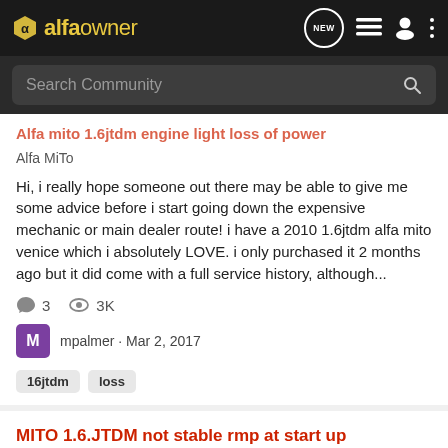alfaowner — navigation bar with NEW, list, profile, and more icons
Search Community
Alfa MiTo

Hi, i really hope someone out there may be able to give me some advice before i start going down the expensive mechanic or main dealer route! i have a 2010 1.6jtdm alfa mito venice which i absolutely LOVE. i only purchased it 2 months ago but it did come with a full service history, although...
3  3K
mpalmer · Mar 2, 2017
16jtdm  loss
MITO 1.6.JTDM not stable rmp at start up
Alfa MiTo